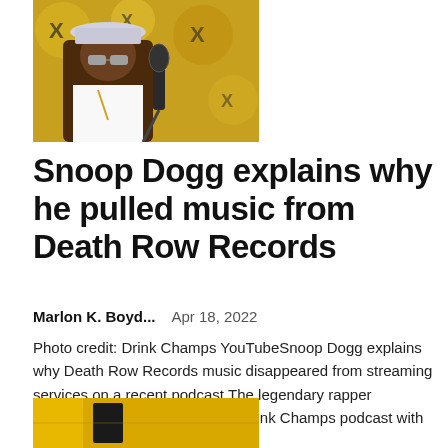[Figure (photo): Photo of Snoop Dogg wearing a patterned bucket hat and sunglasses, seated in front of a microphone, with a yellow and black logo background (Drink Champs YouTube set)]
Snoop Dogg explains why he pulled music from Death Row Records
Marlon K. Boyd...    Apr 18, 2022
Photo credit: Drink Champs YouTubeSnoop Dogg explains why Death Row Records music disappeared from streaming services on a recent podcast.The legendary rapper appeared on an episode of the Drink Champs podcast with co-hosts DJ EFN and...
[Figure (photo): Partial photo of what appears to be a building exterior or sign, partially visible at bottom of page]